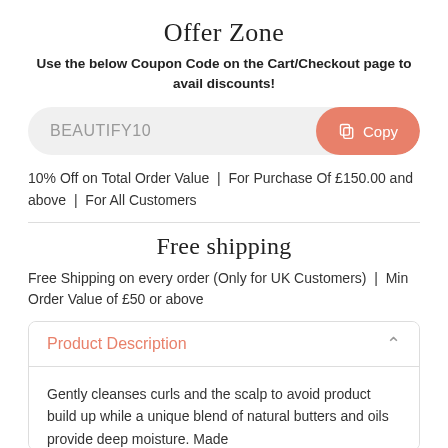Offer Zone
Use the below Coupon Code on the Cart/Checkout page to avail discounts!
BEAUTIFY10  Copy
10% Off on Total Order Value | For Purchase Of £150.00 and above | For All Customers
Free shipping
Free Shipping on every order (Only for UK Customers) | Min Order Value of £50 or above
Product Description
Gently cleanses curls and the scalp to avoid product build up while a unique blend of natural butters and oils provide deep moisture. Made